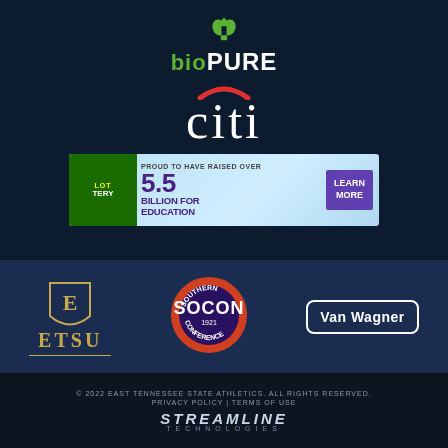[Figure (logo): bioPURE logo with green leaf/house icon above text 'bioPURE' with bio in green and PURE in white]
[Figure (logo): Citi bank logo with red arc above white 'citi' text]
[Figure (logo): Tennessee Lottery banner: '5.5 BILLION FOR EDUCATION' with LEARN MORE button]
[Figure (logo): ETSU (East Tennessee State University) logo with shield and gold text]
[Figure (logo): SoCon Southern Conference 1921 circular badge logo]
[Figure (logo): Van Wagner logo in white rounded rectangle outline]
© 2022 EAST TENNESSEE STATE ATHLETICS. ALL RIGHTS RESERVED. PRIVACY POLICY | TERMS OF USE
[Figure (logo): Streamline Technologies logo in italic bold text]